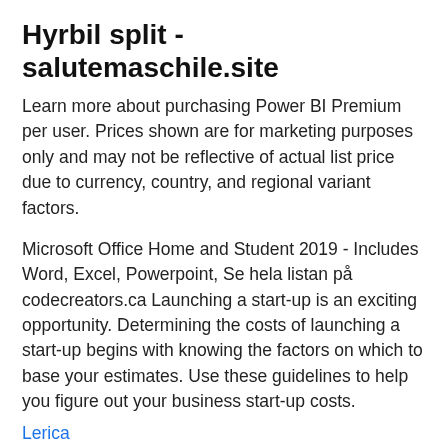Hyrbil split - salutemaschile.site
Learn more about purchasing Power BI Premium per user. Prices shown are for marketing purposes only and may not be reflective of actual list price due to currency, country, and regional variant factors.
Microsoft Office Home and Student 2019 - Includes Word, Excel, Powerpoint, Se hela listan på codecreators.ca Launching a start-up is an exciting opportunity. Determining the costs of launching a start-up begins with knowing the factors on which to base your estimates. Use these guidelines to help you figure out your business start-up costs.
Lerica